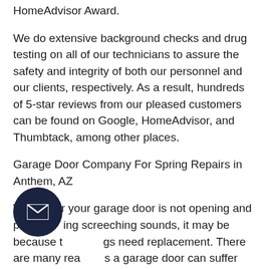HomeAdvisor Award.
We do extensive background checks and drug testing on all of our technicians to assure the safety and integrity of both our personnel and our clients, respectively. As a result, hundreds of 5-star reviews from our pleased customers can be found on Google, HomeAdvisor, and Thumbtack, among other places.
Garage Door Company For Spring Repairs in Anthem, AZ
Whenever your garage door is not opening and producing screeching sounds, it may be because the springs need replacement. There are many reasons a garage door can suffer damage.